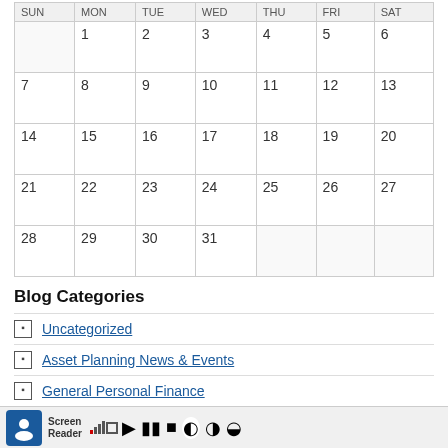| SUN | MON | TUE | WED | THU | FRI | SAT |
| --- | --- | --- | --- | --- | --- | --- |
|  | 1 | 2 | 3 | 4 | 5 | 6 |
| 7 | 8 | 9 | 10 | 11 | 12 | 13 |
| 14 | 15 | 16 | 17 | 18 | 19 | 20 |
| 21 | 22 | 23 | 24 | 25 | 26 | 27 |
| 28 | 29 | 30 | 31 |  |  |  |
Blog Categories
Uncategorized
Asset Planning News & Events
General Personal Finance
Financial Security
Re...
In...